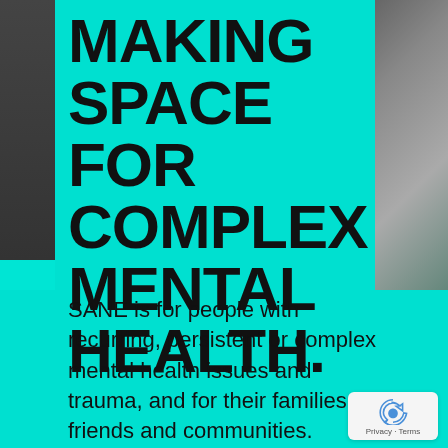MAKING SPACE FOR COMPLEX MENTAL HEALTH.
SANE is for people with recurring, persistent or complex mental health issues and trauma, and for their families, friends and communities.
[Figure (logo): reCAPTCHA badge with recycling-arrow logo and Privacy · Terms text]